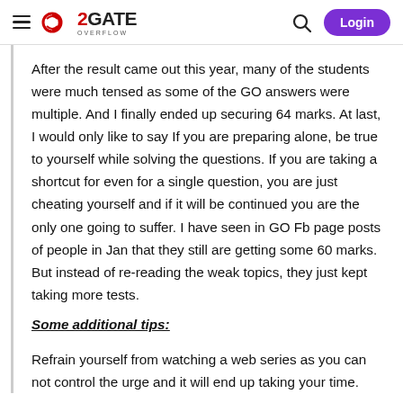GATE OVERFLOW — Login
After the result came out this year, many of the students were much tensed as some of the GO answers were multiple. And I finally ended up securing 64 marks. At last, I would only like to say If you are preparing alone, be true to yourself while solving the questions. If you are taking a shortcut for even for a single question, you are just cheating yourself and if it will be continued you are the only one going to suffer. I have seen in GO Fb page posts of people in Jan that they still are getting some 60 marks. But instead of re-reading the weak topics, they just kept taking more tests.
Some additional tips:
Refrain yourself from watching a web series as you can not control the urge and it will end up taking your time.